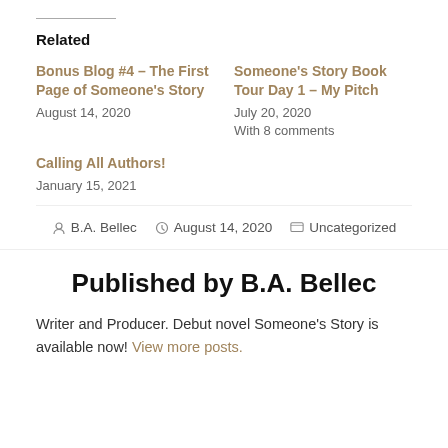Related
Bonus Blog #4 – The First Page of Someone's Story
August 14, 2020
Someone's Story Book Tour Day 1 – My Pitch
July 20, 2020
With 8 comments
Calling All Authors!
January 15, 2021
B.A. Bellec  August 14, 2020  Uncategorized
Published by B.A. Bellec
Writer and Producer. Debut novel Someone's Story is available now! View more posts.